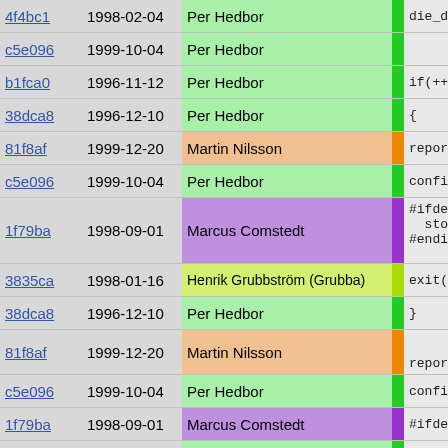| Hash | Date | Author |  | Code |
| --- | --- | --- | --- | --- |
| 4f4bc1 | 1998-02-04 | Per Hedbor | green | die_die_ |
| c5e096 | 1999-10-04 | Per Hedbor | green |  |
| b1fca0 | 1996-11-12 | Per Hedbor | green | if(++_re |
| 38dca8 | 1996-12-10 | Per Hedbor | green | { |
| 81f8af | 1999-12-20 | Martin Nilsson | orange | report |
| c5e096 | 1999-10-04 | Per Hedbor | green | config |
| 1f79ba | 1998-09-01 | Marcus Comstedt | purple | #ifdef THR
  stop_h
#endif /* |
| 3835ca | 1998-01-16 | Henrik Grubbström (Grubba) | yellow-green | exit(- |
| 38dca8 | 1996-12-10 | Per Hedbor | green | } |
| 81f8af | 1999-12-20 | Martin Nilsson | orange | report_d |
| c5e096 | 1999-10-04 | Per Hedbor | green | configur |
| 1f79ba | 1998-09-01 | Marcus Comstedt | purple | #ifdef THR |
| c5e096 | 1999-10-04 | Per Hedbor | green | stop_han |
| 1f79ba | 1998-09-01 | Marcus Comstedt | purple | #endif /* |
| c5e096 | 1999-10-04 | Per Hedbor | green | exit(-1) |
| b1fca0 | 1996-11-12 | Per Hedbor | green | } |